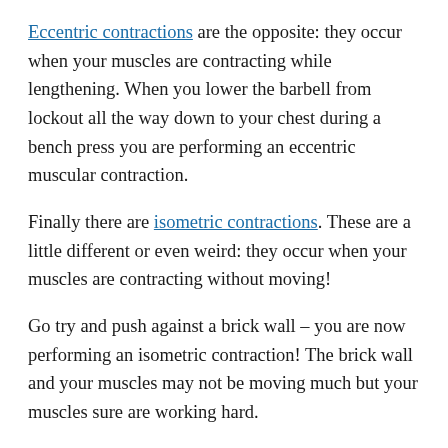Eccentric contractions are the opposite: they occur when your muscles are contracting while lengthening. When you lower the barbell from lockout all the way down to your chest during a bench press you are performing an eccentric muscular contraction.
Finally there are isometric contractions. These are a little different or even weird: they occur when your muscles are contracting without moving!
Go try and push against a brick wall – you are now performing an isometric contraction! The brick wall and your muscles may not be moving much but your muscles sure are working hard.
I'm not suggesting you should go and push against a